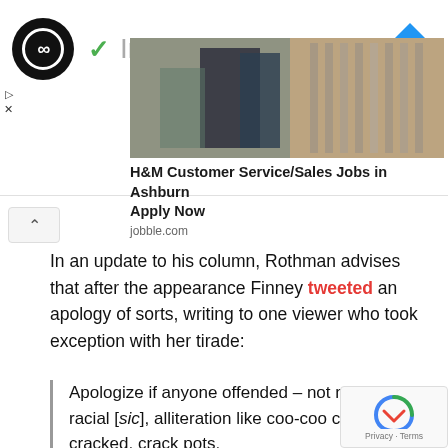[Figure (screenshot): Advertisement banner: circular logo with infinity-like symbol, green checkmark with 'In-store shopping' text, blue diamond navigation icon, image of people shopping in store, H&M job ad]
H&M Customer Service/Sales Jobs in Ashburn Apply Now
jobble.com
Outbrain
In an update to his column, Rothman advises that after the appearance Finney tweeted an apology of sorts, writing to one viewer who took exception with her tirade:
Apologize if anyone offended – not meant as racial [sic], alliteration like coo-coo crazy, or cracked, crack pots.